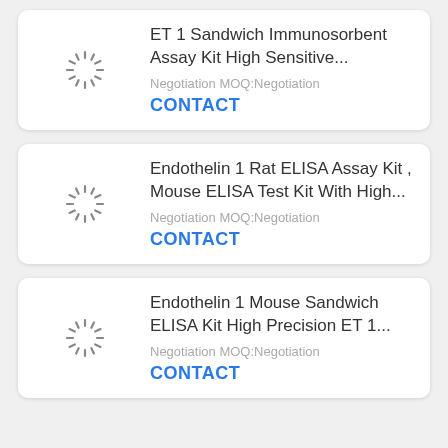ET 1 Sandwich Immunosorbent Assay Kit High Sensitive...
Negotiation MOQ:Negotiation
CONTACT
Endothelin 1 Rat ELISA Assay Kit , Mouse ELISA Test Kit With High...
Negotiation MOQ:Negotiation
CONTACT
Endothelin 1 Mouse Sandwich ELISA Kit High Precision ET 1...
Negotiation MOQ:Negotiation
CONTACT